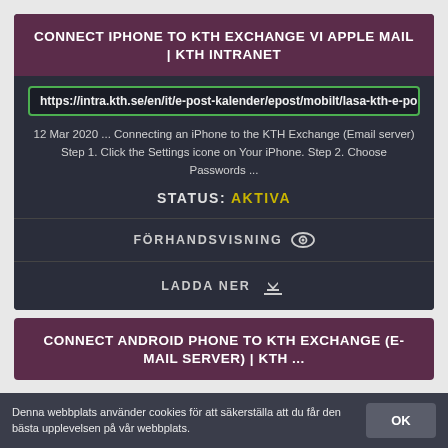CONNECT IPHONE TO KTH EXCHANGE VI APPLE MAIL | KTH INTRANET
https://intra.kth.se/en/it/e-post-kalender/epost/mobilt/lasa-kth-e-post-pa
12 Mar 2020 ... Connecting an iPhone to the KTH Exchange (Email server) Step 1. Click the Settings icone on Your iPhone. Step 2. Choose Passwords ...
STATUS: AKTIVA
FÖRHANDSVISNING
LADDA NER
CONNECT ANDROID PHONE TO KTH EXCHANGE (E-MAIL SERVER) | KTH ...
Denna webbplats använder cookies för att säkerställa att du får den bästa upplevelsen på vår webbplats.